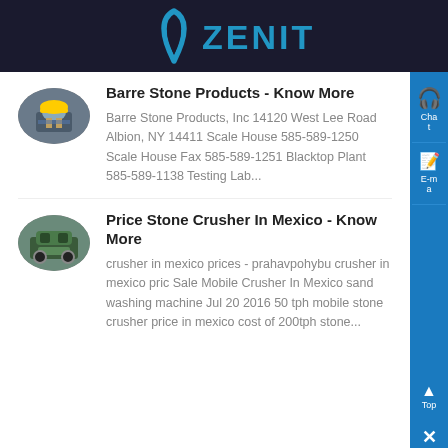ZENIT
Barre Stone Products - Know More
Barre Stone Products, Inc 14120 West Lee Road Albion, NY 14411 Scale House 585-589-1250 Scale House Fax 585-589-1251 Blacktop Plant 585-589-1138 Testing Lab...
Price Stone Crusher In Mexico - Know More
crusher in mexico prices - prahavpohybu crusher in mexico pric Sale Mobile Crusher In Mexico sand washing machine Jul 20 2016 50 tph mobile stone crusher price in mexico cost of 200tph stone...